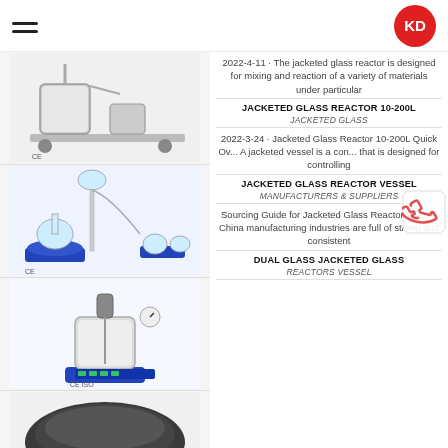KD (logo)
[Figure (photo): Stainless steel jacketed reactor system on wheeled cart with multiple vessels]
[Figure (photo): Short path distillation setup with round bottom flask on heating mantle and glassware assembly on blue base]
[Figure (photo): Single jacketed glass reactor with mechanical stirrer and blue base with digital display]
[Figure (photo): Bottom portion of dark circular reactor vessel]
2022-4-11 · The jacketed glass reactor is designed for mixing and reaction of a variety of materials under particular
JACKETED GLASS REACTOR 10-200L
JACKETED GLASS
2022-3-24 · Jacketed Glass Reactor 10-200L Quick Ov... A jacketed vessel is a con... that is designed for controlling
JACKETED GLASS REACTOR VESSEL
MANUFACTURERS & SUPPLIERS
Sourcing Guide for Jacketed Glass Reactor Vessel: China manufacturing industries are full of strong and consistent
DUAL GLASS JACKETED GLASS REACTORS VESSEL